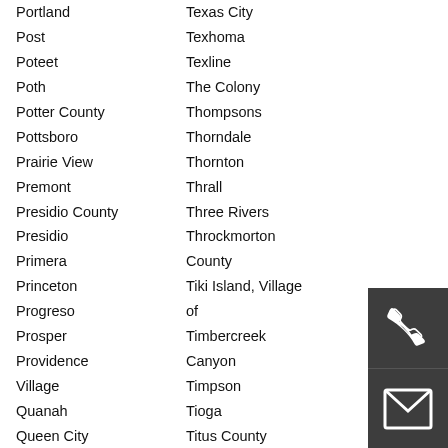Portland
Post
Poteet
Poth
Potter County
Pottsboro
Prairie View
Premont
Presidio County
Presidio
Primera
Princeton
Progreso
Prosper
Providence Village
Quanah
Queen City
Quinlan
Texas City
Texhoma
Texline
The Colony
Thompsons
Thorndale
Thornton
Thrall
Three Rivers
Throckmorton County
Tiki Island, Village of
Timbercreek Canyon
Timpson
Tioga
Titus County
Todd Mission
[Figure (illustration): Dark gray box with white telephone handset icon]
[Figure (illustration): Dark gray box with white envelope/mail icon]